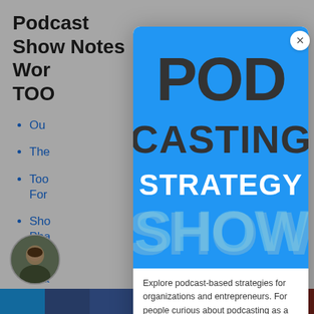Podcast Show Notes Wor TOO
Ou
The
Too For
Sho Pha
Too Gra
[Figure (logo): Podcasting Strategy Show logo — blue square background with bold text reading POD CASTING STRATEGY SHOW in dark gray and white lettering with light blue shadow text for SHOW]
Explore podcast-based strategies for organizations and entrepreneurs. For people curious about podcasting as a business strategy.